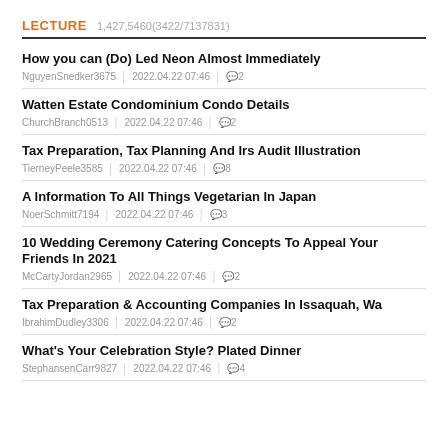LECTURE 1,427,5460(3422/7137831)
How you can (Do) Led Neon Almost Immediately
NguyenSnedker3675 | 2022.04.22 07:46 | 💬2
Watten Estate Condominium Condo Details
ChurchBranch0513 | 2022.04.22 07:46 | 💬2
Tax Preparation, Tax Planning And Irs Audit Illustration
TierneyPeele3585 | 2022.04.22 07:46 | 💬8
A Information To All Things Vegetarian In Japan
NoerSchmitt7194 | 2022.04.22 07:46 | 💬3
10 Wedding Ceremony Catering Concepts To Appeal Your Friends In 2021
McCartyJordan2965 | 2022.04.22 07:46 | 💬2
Tax Preparation & Accounting Companies In Issaquah, Wa
IbrahimDudley3306 | 2022.04.22 07:46 | 💬2
What's Your Celebration Style? Plated Dinner
StephansenCarr9827 | 2022.04.22 07:46 | 💬4